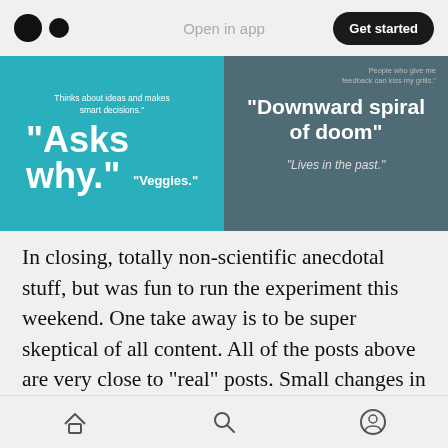Medium logo | Open in app | Get started
[Figure (infographic): Two-panel infographic. Left panel (teal/cyan): small text 'Thinks about ideas and makes smart decisions.' with large bold text 'Asks why.' and smaller text 'Veggies.' Right panel (dark teal): small text about feedback, large bold text 'Downward spiral of doom' and italic text 'Lives in the past.']
In closing, totally non-scientific anecdotal stuff, but was fun to run the experiment this weekend. One take away is to be super skeptical of all content. All of the posts above are very close to “real” posts. Small changes in how its presented can radically change who views and likes it. The algorithms and moderators are not good at
Home | Search | Profile